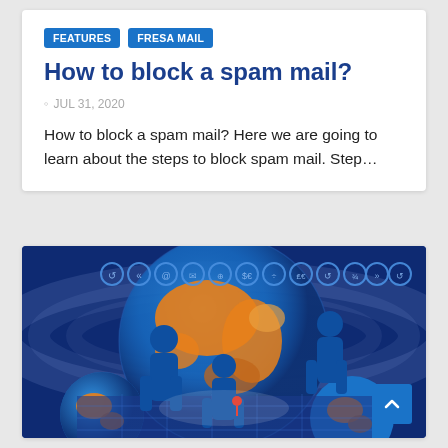FEATURES   FRESA MAIL
How to block a spam mail?
JUL 31, 2020
How to block a spam mail? Here we are going to learn about the steps to block spam mail. Step…
[Figure (illustration): Digital globe with blue silhouettes of people standing on/around it, with email/internet icons around the top on a dark blue background. A back-to-top button in blue is at the bottom right.]